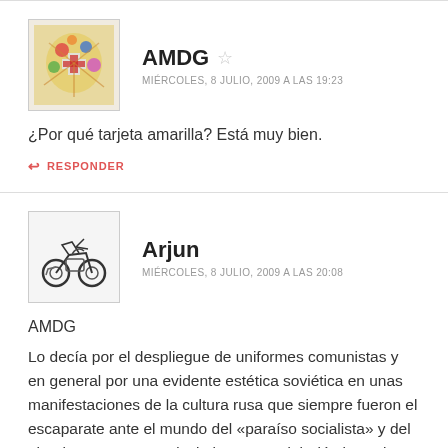[Figure (illustration): Avatar image with colorful decorative design (flowers, cross emblem) on beige background]
AMDG ☆
MIÉRCOLES, 8 JULIO, 2009 A LAS 19:23
¿Por qué tarjeta amarilla? Está muy bien.
↩ RESPONDER
[Figure (illustration): Avatar image of a person on a motorcycle, black and white sketch style]
Arjun
MIÉRCOLES, 8 JULIO, 2009 A LAS 20:08
AMDG
Lo decía por el despliegue de uniformes comunistas y en general por una evidente estética soviética en unas manifestaciones de la cultura rusa que siempre fueron el escaparate ante el mundo del «paraíso socialista» y del «honbre nuevo». Es decir, los Coros del Ejército Rojo, los